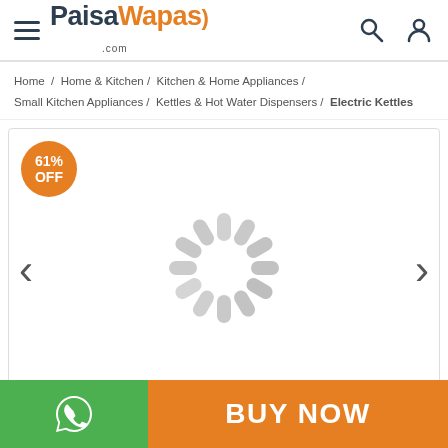PaisaWapas.com
Home / Home & Kitchen / Kitchen & Home Appliances / Small Kitchen Appliances / Kettles & Hot Water Dispensers / Electric Kettles
[Figure (screenshot): Product image carousel area showing a loading spinner in the center, a 61% OFF orange discount badge in the top-left corner, and left/right navigation arrows on either side.]
[Figure (other): Bottom action bar with a green WhatsApp button on the left and an orange BUY NOW button on the right.]